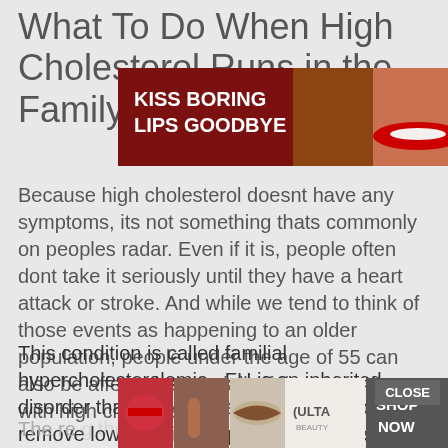What To Do When High Cholesterol Runs in the Family
[Figure (screenshot): Macy's advertisement banner: KISS BORING LIPS GOODBYE with SHOP NOW button and Macy's star logo, showing a woman with red lips]
Because high cholesterol doesnt have any symptoms, its not something thats commonly on peoples radar. Even if it is, people often dont take it seriously until they have a heart attack or stroke. And while we tend to think of those events as happening to an older population, people under the age of 55 can also be affected, especially if they were born with high cholesterol.
This condition is called familial hypercholesterolemia . FH is an inherited disorder that makes it harder for your body to remove low-density lipoprotein cholesterol from your blood.
The re...g the walls d...ways
[Figure (screenshot): ULTA beauty advertisement banner at bottom with makeup images and SHOP NOW button, with CLOSE button overlay]